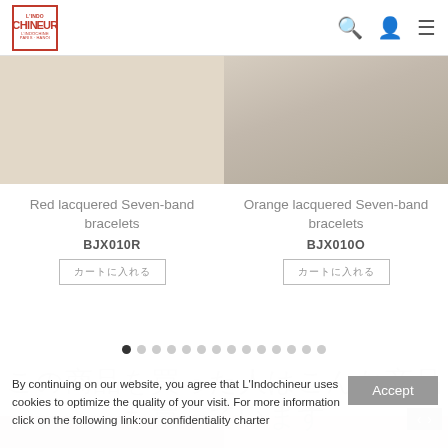[Figure (logo): L'Indochineur Paris logo — red bordered box with brand name in red]
Red lacquered Seven-band bracelets
BJX010R
[Figure (other): Button with Japanese characters (カートに入れる)]
[Figure (photo): Orange lacquered Seven-band bracelets product image]
Orange lacquered Seven-band bracelets
BJX010O
[Figure (other): Button with Japanese characters (カートに入れる)]
この商品を買った人はこんな商品も買っています
By continuing on our website, you agree that L'Indochineur uses cookies to optimize the quality of your visit. For more information click on the following link:our confidentiality charter